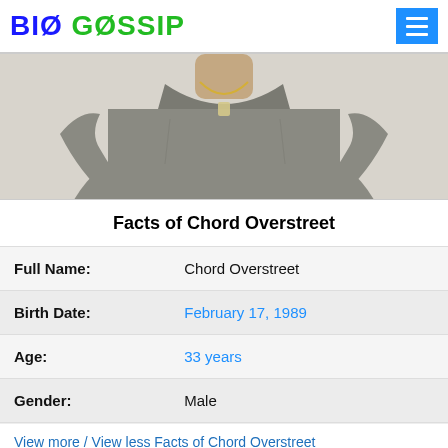BIO GOSSIP
[Figure (photo): Photo of Chord Overstreet torso, wearing a grey t-shirt with a chain necklace, against a light grey background]
Facts of Chord Overstreet
| Full Name: | Chord Overstreet |
| Birth Date: | February 17, 1989 |
| Age: | 33 years |
| Gender: | Male |
View more / View less Facts of Chord Overstreet